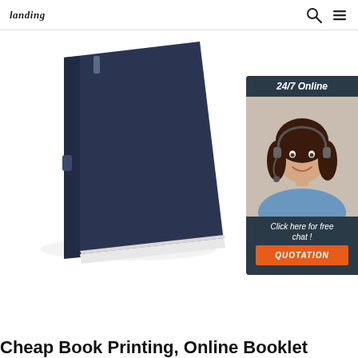landing | search | menu
[Figure (photo): A dark navy hardcover book/booklet lying at an angle on a white background, with a small ribbon bookmark visible on the spine.]
[Figure (infographic): 24/7 online chat widget showing a smiling female customer service representative wearing a headset, with text 'Click here for free chat!' and an orange QUOTATION button.]
Cheap Book Printing, Online Booklet